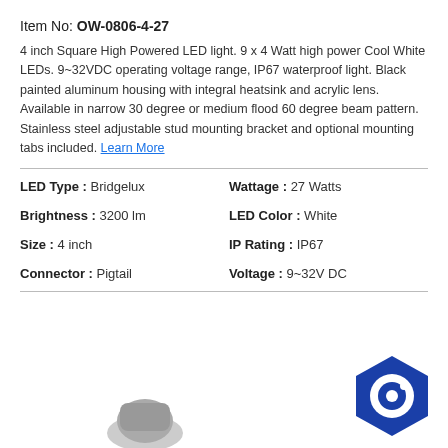Item No: OW-0806-4-27
4 inch Square High Powered LED light. 9 x 4 Watt high power Cool White LEDs. 9~32VDC operating voltage range, IP67 waterproof light. Black painted aluminum housing with integral heatsink and acrylic lens. Available in narrow 30 degree or medium flood 60 degree beam pattern. Stainless steel adjustable stud mounting bracket and optional mounting tabs included. Learn More
| LED Type : Bridgelux | Wattage : 27 Watts |
| Brightness : 3200 lm | LED Color : White |
| Size : 4 inch | IP Rating : IP67 |
| Connector : Pigtail | Voltage : 9~32V DC |
[Figure (logo): Blue hexagonal chat/support icon in bottom right corner]
[Figure (photo): Product photo partially visible at bottom center of page]